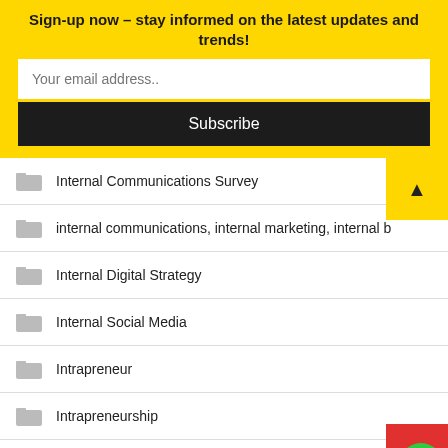Sign-up now – stay informed on the latest updates and trends!
Your email address..
Subscribe
Internal Communications Survey
internal communications, internal marketing, internal b
Internal Digital Strategy
Internal Social Media
Intrapreneur
Intrapreneurship
Issues Management